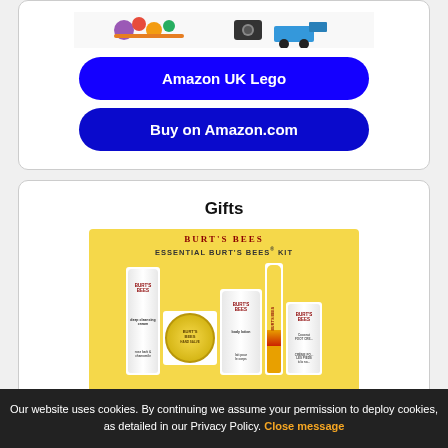[Figure (photo): LEGO products image strip showing colorful flowers and a camera truck set]
Amazon UK Lego
Buy on Amazon.com
Gifts
[Figure (photo): Burt's Bees Essential Kit gift set showing various Burt's Bees products including body lotion, deep cleansing cream, lip balm, coconut foot cream on a yellow honeycomb background]
Our website uses cookies. By continuing we assume your permission to deploy cookies, as detailed in our Privacy Policy. Close message